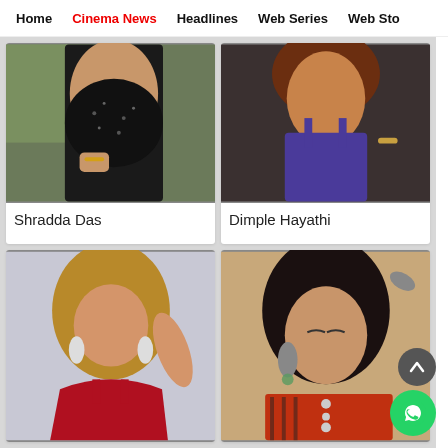Home | Cinema News | Headlines | Web Series | Web Sto
[Figure (photo): Photo of Shradda Das in a black sequined outfit]
Shradda Das
[Figure (photo): Photo of Dimple Hayathi in a purple outfit]
Dimple Hayathi
[Figure (photo): Photo of a woman in a red outfit with dangling earrings]
[Figure (photo): Photo of a woman in patterned outfit with large earrings, eyes closed]